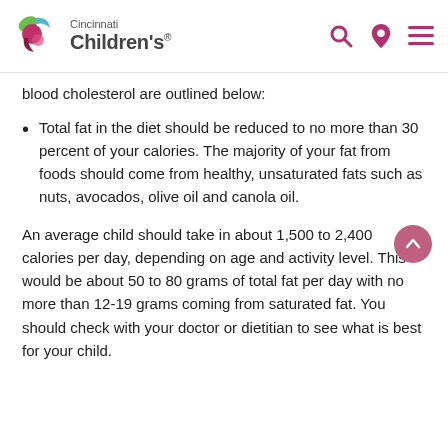Cincinnati Children's
blood cholesterol are outlined below:
Total fat in the diet should be reduced to no more than 30 percent of your calories. The majority of your fat from foods should come from healthy, unsaturated fats such as nuts, avocados, olive oil and canola oil.
An average child should take in about 1,500 to 2,400 calories per day, depending on age and activity level. This would be about 50 to 80 grams of total fat per day with no more than 12-19 grams coming from saturated fat. You should check with your doctor or dietitian to see what is best for your child.